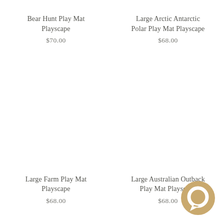Bear Hunt Play Mat Playscape
$70.00
Large Arctic Antarctic Polar Play Mat Playscape
$68.00
Large Farm Play Mat Playscape
$68.00
Large Australian Outback Play Mat Playscape
$68.00
[Figure (illustration): Circular chat button icon in tan/gold color, bottom right corner]